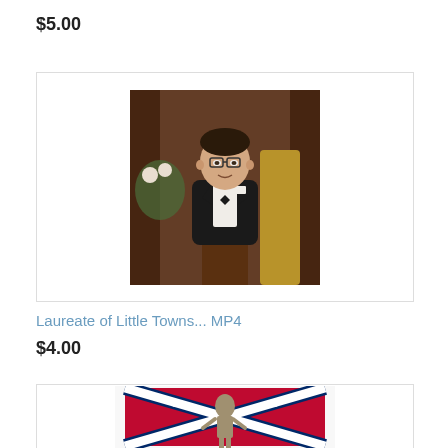$5.00
[Figure (photo): A man in a tuxedo with bow tie and glasses speaking at a podium in a formal setting with ornate wooden background]
Laureate of Little Towns... MP4
$4.00
[Figure (photo): A figure statue in front of a Confederate battle flag (red with blue X and stars)]